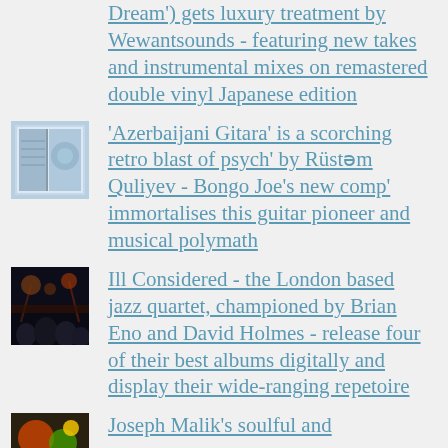Dream') gets luxury treatment by Wewantsounds - featuring new takes and instrumental mixes on remastered double vinyl Japanese edition
[Figure (photo): Small album cover thumbnail for Azerbaijani Gitara – bluish illustrated cover]
'Azerbaijani Gitara' is a scorching retro blast of psych' by Rüstəm Quliyev - Bongo Joe's new comp' immortalises this guitar pioneer and musical polymath
[Figure (photo): Small album cover thumbnail for Ill Considered – dark concert/crowd photo]
Ill Considered - the London based jazz quartet, championed by Brian Eno and David Holmes - release four of their best albums digitally and display their wide-ranging repetoire
[Figure (photo): Small album cover thumbnail for Joseph Malik – colorful illustrated cover]
Joseph Malik's soulful and